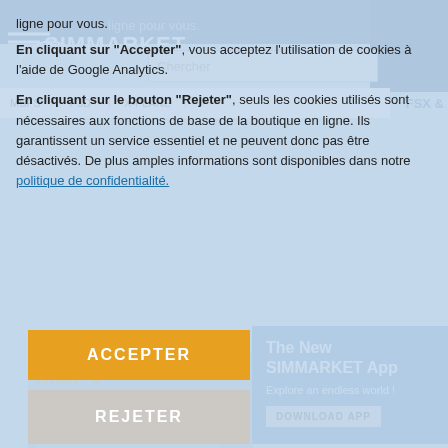[Figure (screenshot): SimMarket website screenshot showing MBPV Providenciales International Airport FSX P3D4-5 product page with cookie consent overlay]
ligne pour vous.
En cliquant sur "Accepter", vous acceptez l'utilisation de cookies à l'aide de Google Analytics.
En cliquant sur le bouton "Rejeter", seuls les cookies utilisés sont nécessaires aux fonctions de base de la boutique en ligne. Ils garantissent un service essentiel et ne peuvent donc pas être désactivés. De plus amples informations sont disponibles dans notre politique de confidentialité.
MBPV PROVIDENCIALES INTL FSX P3D4-5
FINAL APPROACH SIMULATIONS
EUR 11.99
ACCEPTER
REJETER
The New SIMMARKET App
Explore an endless world !
DOWNLOAD APP